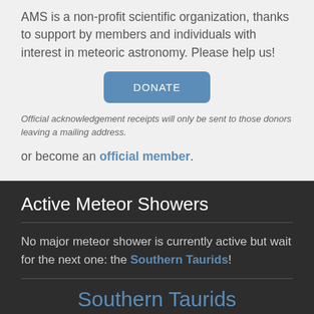AMS is a non-profit scientific organization, thanks to support by members and individuals with interest in meteoric astronomy. Please help us!
[Figure (other): DONATE button — a blue rounded rectangle with white text]
Official acknowledgement receipts will only be sent to those donors leaving a mailing address.
or become an official member.
Active Meteor Showers
No major meteor shower is currently active but wait for the next one: the Southern Taurids!
Southern Taurids
active from September 10th to November 20th